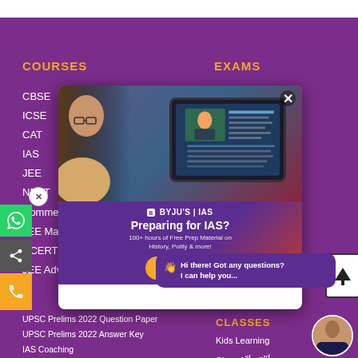COURSES
EXAMS
CBSE
ICSE
CAT
IAS
JEE
NEET
Commerce
JEE Main
NCERT
JEE Advanced
[Figure (screenshot): BYJU'S IAS popup modal with photo of student using tablet, text 'Preparing for IAS? 100+ hours of Free Prep Material on History, Polity & more!' and Register button]
UPSC Prelims 2022 Question Paper
UPSC Prelims 2022 Answer Key
IAS Coaching
CLASSES
Kids Learning
Class 1st - 3rd